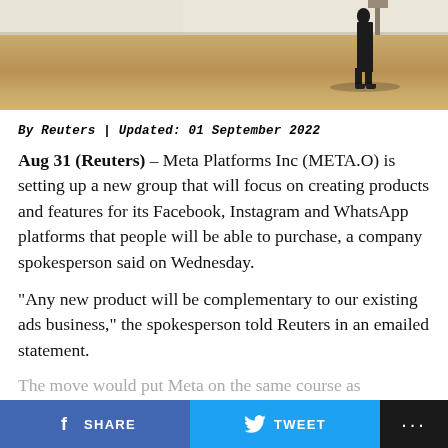[Figure (photo): Outdoor scene with a person standing near a bench or ledge on a sandy/paved surface, casting a shadow.]
By Reuters | Updated: 01 September 2022
Aug 31 (Reuters) – Meta Platforms Inc (META.O) is setting up a new group that will focus on creating products and features for its Facebook, Instagram and WhatsApp platforms that people will be able to purchase, a company spokesperson said on Wednesday.
“Any new product will be complementary to our existing ads business,” the spokesperson told Reuters in an emailed statement.
The move would put Meta on the same course as
SHARE   TWEET   ...